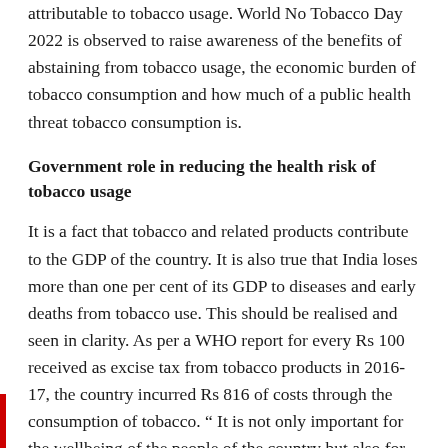attributable to tobacco usage. World No Tobacco Day 2022 is observed to raise awareness of the benefits of abstaining from tobacco usage, the economic burden of tobacco consumption and how much of a public health threat tobacco consumption is.
Government role in reducing the health risk of tobacco usage
It is a fact that tobacco and related products contribute to the GDP of the country. It is also true that India loses more than one per cent of its GDP to diseases and early deaths from tobacco use. This should be realised and seen in clarity. As per a WHO report for every Rs 100 received as excise tax from tobacco products in 2016-17, the country incurred Rs 816 of costs through the consumption of tobacco. " It is not only important for the wellbeing of the people of the country but also for the wellbeing of the economy that the government should take serious steps to curtail the use of